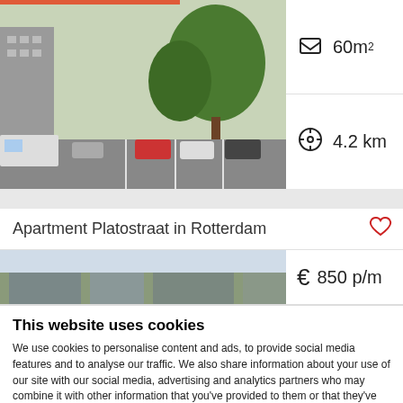[Figure (photo): Outdoor parking area with cars and trees, apartment buildings in background]
60m²
4.2 km
Apartment Platostraat in Rotterdam
[Figure (photo): Low-rise apartment building exterior]
850 p/m
This website uses cookies
We use cookies to personalise content and ads, to provide social media features and to analyse our traffic. We also share information about your use of our site with our social media, advertising and analytics partners who may combine it with other information that you've provided to them or that they've collected from your use of their services. You consent to our cookies if you continue to use our website.
OK
Necessary  Preferences  Statistics  Marketing  Show details